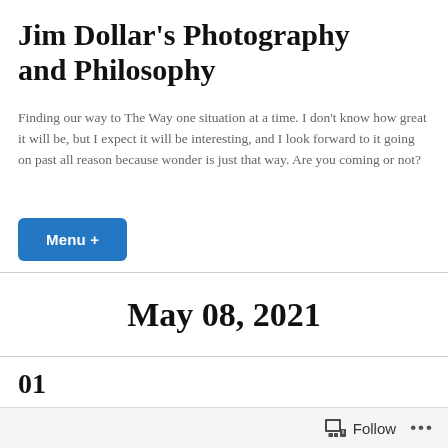Jim Dollar's Photography and Philosophy
Finding our way to The Way one situation at a time. I don't know how great it will be, but I expect it will be interesting, and I look forward to it going on past all reason because wonder is just that way. Are you coming or not?
Menu +
May 08, 2021
01
[Figure (photo): Partial view of a photo with blue sky tones, cropped at bottom of page]
Follow ...